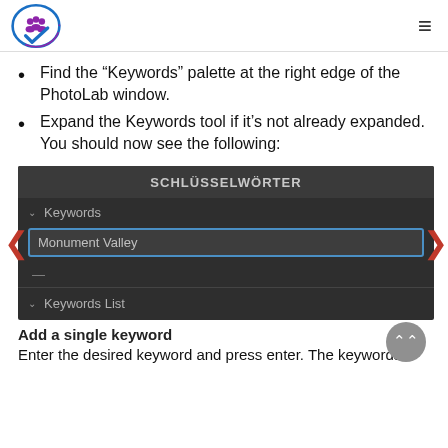[Logo] [Hamburger menu]
Find the “Keywords” palette at the right edge of the PhotoLab window.
Expand the Keywords tool if it’s not already expanded. You should now see the following:
[Figure (screenshot): Screenshot of DxO PhotoLab Keywords panel showing header 'SCHLÜSSELWÖRTER', Keywords section with 'Monument Valley' in input field, and Keywords List section below. Red navigation arrows on left and right sides.]
Add a single keyword
Enter the desired keyword and press enter. The keywords